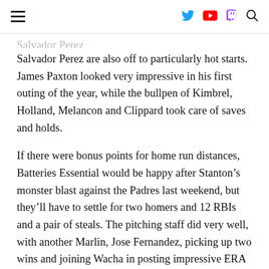[hamburger menu] [Twitter] [YouTube] [Twitch] [Search]
Salvador Perez are also off to particularly hot starts. James Paxton looked very impressive in his first outing of the year, while the bullpen of Kimbrel, Holland, Melancon and Clippard took care of saves and holds.
If there were bonus points for home run distances, Batteries Essential would be happy after Stanton’s monster blast against the Padres last weekend, but they’ll have to settle for two homers and 12 RBIs and a pair of steals. The pitching staff did very well, with another Marlin, Jose Fernandez, picking up two wins and joining Wacha in posting impressive ERA and WHIP numbers.